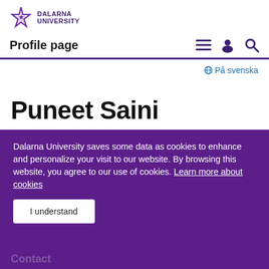[Figure (logo): Dalarna University logo: purple star/flower icon with text DALARNA UNIVERSITY]
Profile page
På svenska
Puneet Saini
Dalarna University saves some data as cookies to enhance and personalize your visit to our website. By browsing this website, you agree to our use of cookies. Learn more about cookies
I understand
Contact